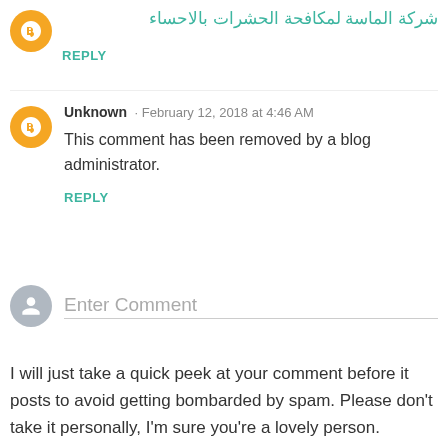شركة الماسة لمكافحة الحشرات بالاحساء
REPLY
Unknown · February 12, 2018 at 4:46 AM
This comment has been removed by a blog administrator.
REPLY
Enter Comment
I will just take a quick peek at your comment before it posts to avoid getting bombarded by spam. Please don't take it personally, I'm sure you're a lovely person.